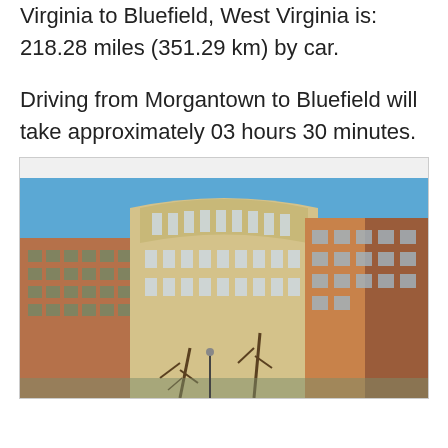Virginia to Bluefield, West Virginia is: 218.28 miles (351.29 km) by car.
Driving from Morgantown to Bluefield will take approximately 03 hours 30 minutes.
[Figure (photo): Photograph of a university or civic building complex featuring a curved tan/beige facade with multiple floors of windows in the center, brick buildings on the left and right, bare winter trees in the foreground, and a clear blue sky.]